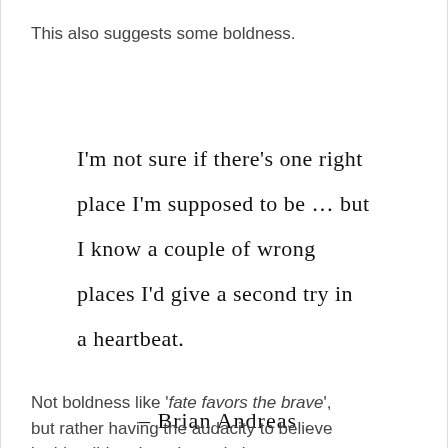This also suggests some boldness.
[Figure (other): Handwritten quote: I'm not sure if there's one right place I'm supposed to be ... but I know a couple of wrong places I'd give a second try in a heartbeat. - Brian Andreas]
Not boldness like 'fate favors the brave', but rather having the audacity to believe in this wild and wacky and always